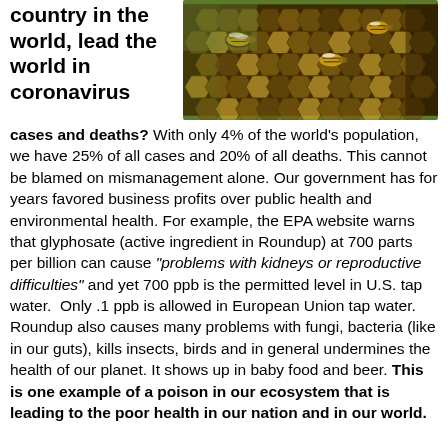country in the world, lead the world in coronavirus cases and deaths? With only 4% of the world's population, we have 25% of all cases and 20% of all deaths. This cannot be blamed on mismanagement alone. Our government has for years favored business profits over public health and environmental health. For example, the EPA website warns that glyphosate (active ingredient in Roundup) at 700 parts per billion can cause "problems with kidneys or reproductive difficulties" and yet 700 ppb is the permitted level in U.S. tap water. Only .1 ppb is allowed in European Union tap water. Roundup also causes many problems with fungi, bacteria (like in our guts), kills insects, birds and in general undermines the health of our planet. It shows up in baby food and beer. This is one example of a poison in our ecosystem that is leading to the poor health in our nation and in our world.
[Figure (photo): Close-up photo of honeybees on a honeycomb]